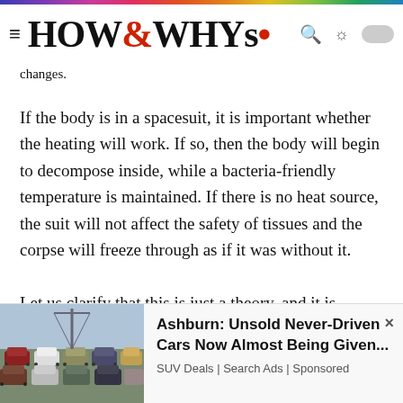HOW&WHYs
changes.
If the body is in a spacesuit, it is important whether the heating will work. If so, then the body will begin to decompose inside, while a bacteria-friendly temperature is maintained. If there is no heat source, the suit will not affect the safety of tissues and the corpse will freeze through as if it was without it.
Let us clarify that this is just a theory, and it is actually very difficult to say if an astronaut dies then how decomposition processes of his body will go. A huge number of factors that cannot always be predicted can
[Figure (photo): Advertisement banner showing a parking lot full of SUVs/trucks]
Ashburn: Unsold Never-Driven Cars Now Almost Being Given... SUV Deals | Search Ads | Sponsored